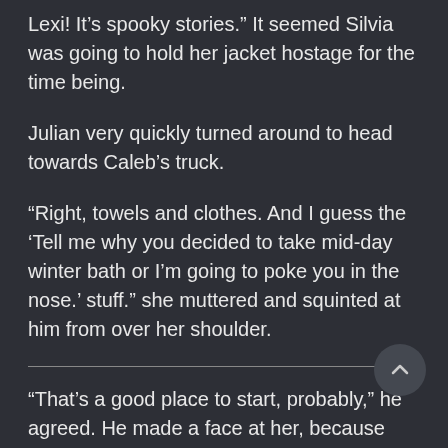Lexi! It’s spooky stories.” It seemed Silvia was going to hold her jacket hostage for the time being.
Julian very quickly turned around to head towards Caleb’s truck.
“Right, towels and clothes. And I guess the ‘Tell me why you decided to take mid-day winter bath or I’m going to poke you in the nose.’ stuff.” she muttered and squinted at him from over her shoulder.
“That’s a good place to start, probably,” he agreed. He made a face at her, because she was doing